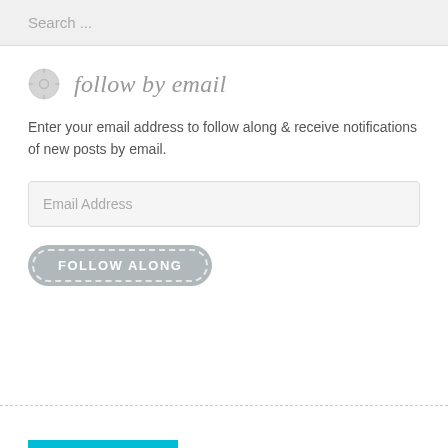Search ...
follow by email
Enter your email address to follow along & receive notifications of new posts by email.
Email Address
FOLLOW ALONG